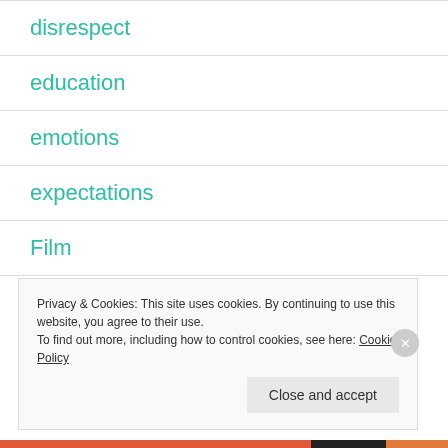disrespect
education
emotions
expectations
Film
financial growth
Privacy & Cookies: This site uses cookies. By continuing to use this website, you agree to their use.
To find out more, including how to control cookies, see here: Cookie Policy
Close and accept